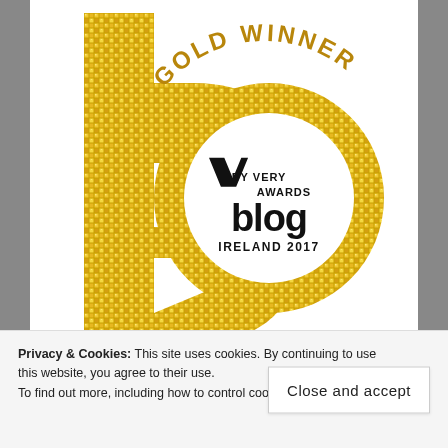[Figure (logo): Gold Winner badge for Very Blog Awards Ireland 2017. Features a large stylized letter 'b' made of gold sequin/mosaic pattern, with 'GOLD WINNER' text arched above in gold, and inside a white circle the 'v' logo with text 'BY VERY AWARDS blog IRELAND 2017' in black.]
Privacy & Cookies: This site uses cookies. By continuing to use this website, you agree to their use.
To find out more, including how to control cookies,
Close and accept